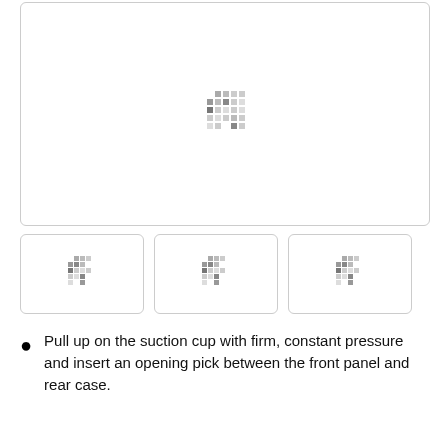[Figure (photo): Main large image panel showing a device repair step, with a small pixel/dot pattern icon centered in a white box with rounded border]
[Figure (photo): Thumbnail image 1 of device repair step with dot pattern icon]
[Figure (photo): Thumbnail image 2 of device repair step with dot pattern icon]
[Figure (photo): Thumbnail image 3 of device repair step with dot pattern icon]
Pull up on the suction cup with firm, constant pressure and insert an opening pick between the front panel and rear case.